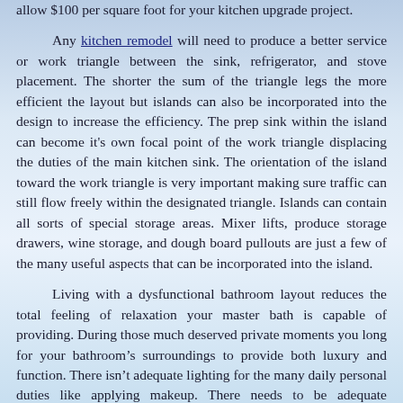allow $100 per square foot for your kitchen upgrade project.

Any kitchen remodel will need to produce a better service or work triangle between the sink, refrigerator, and stove placement. The shorter the sum of the triangle legs the more efficient the layout but islands can also be incorporated into the design to increase the efficiency. The prep sink within the island can become it's own focal point of the work triangle displacing the duties of the main kitchen sink. The orientation of the island toward the work triangle is very important making sure traffic can still flow freely within the designated triangle. Islands can contain all sorts of special storage areas. Mixer lifts, produce storage drawers, wine storage, and dough board pullouts are just a few of the many useful aspects that can be incorporated into the island.

Living with a dysfunctional bathroom layout reduces the total feeling of relaxation your master bath is capable of providing.  During those much deserved private moments you long for your bathroom’s surroundings to provide both luxury and function. There isn’t adequate lighting for the many daily personal duties like applying makeup.  There needs to be adequate ventilation so you don’t always feel as though you are housed in a "sweat box" while getting dressed. The outdated plate mirror extending from your vanity top’s splash upward toward the drywall furrdown above has never been a design you thank the world of. You have always disliked that box above housing the poorly illuminating fluorescent tube lamps that are concealed by the yellowing plastic diffusing panel. You are sick and tired of the poor storage facilities inherited